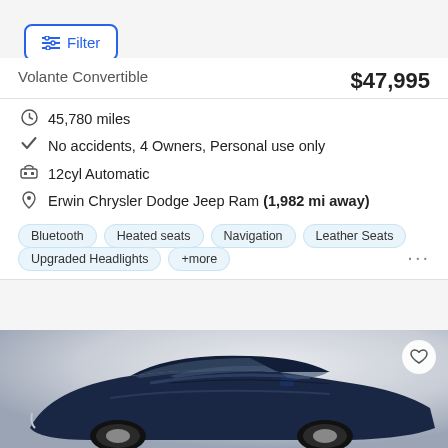Filter
Volante Convertible
$47,995
45,780 miles
No accidents, 4 Owners, Personal use only
12cyl Automatic
Erwin Chrysler Dodge Jeep Ram (1,982 mi away)
Bluetooth  Heated seats  Navigation  Leather Seats  Upgraded Headlights  +more
[Figure (photo): Dark navy blue sports coupe (Aston Martin style) photographed from the front-left angle, showing hood, windshield and driver side mirror]